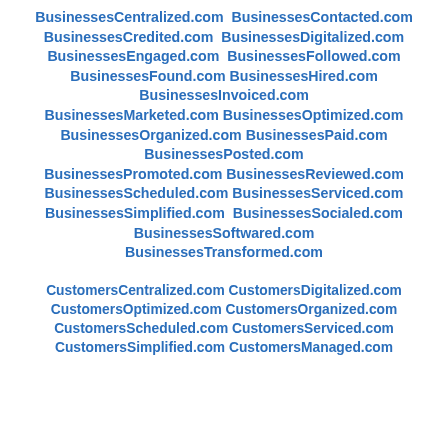BusinessesCentralized.com  BusinessesContacted.com
BusinessesCredited.com  BusinessesDigitalized.com
BusinessesEngaged.com  BusinessesFollowed.com
BusinessesFound.com BusinessesHired.com
BusinessesInvoiced.com
BusinessesMarketed.com BusinessesOptimized.com
BusinessesOrganized.com BusinessesPaid.com
BusinessesPosted.com
BusinessesPromoted.com BusinessesReviewed.com
BusinessesScheduled.com BusinessesServiced.com
BusinessesSimplified.com  BusinessesSocialed.com
BusinessesSoftwared.com
BusinessesTransformed.com
CustomersCentralized.com CustomersDigitalized.com
CustomersOptimized.com CustomersOrganized.com
CustomersScheduled.com CustomersServiced.com
CustomersSimplified.com CustomersManaged.com